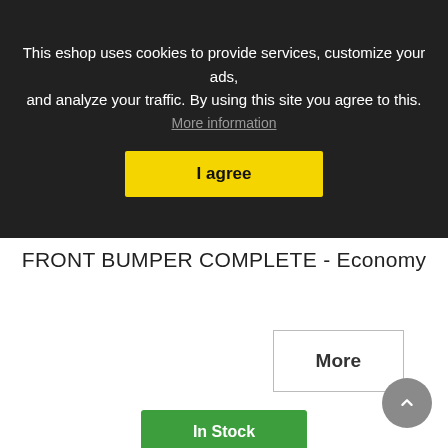This eshop uses cookies to provide services, customize your ads, and analyze your traffic. By using this site you agree to this. More information
I agree
FRONT BUMPER COMPLETE - Economy
More
In Stock
Add to Wishlist